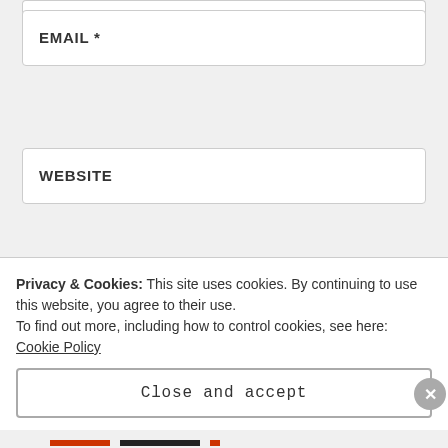[Figure (screenshot): Web form input box labeled EMAIL * with rounded border]
[Figure (screenshot): Web form input box labeled WEBSITE with rounded border]
[Figure (screenshot): Post Comment button in muted brown/gray color]
Privacy & Cookies: This site uses cookies. By continuing to use this website, you agree to their use.
To find out more, including how to control cookies, see here: Cookie Policy
[Figure (screenshot): Close and accept button for cookie banner]